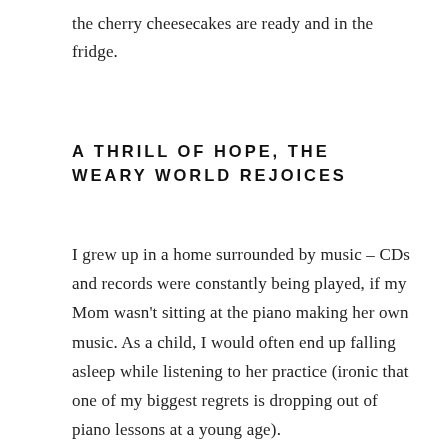the cherry cheesecakes are ready and in the fridge.
A THRILL OF HOPE, THE WEARY WORLD REJOICES
I grew up in a home surrounded by music – CDs and records were constantly being played, if my Mom wasn't sitting at the piano making her own music. As a child, I would often end up falling asleep while listening to her practice (ironic that one of my biggest regrets is dropping out of piano lessons at a young age).